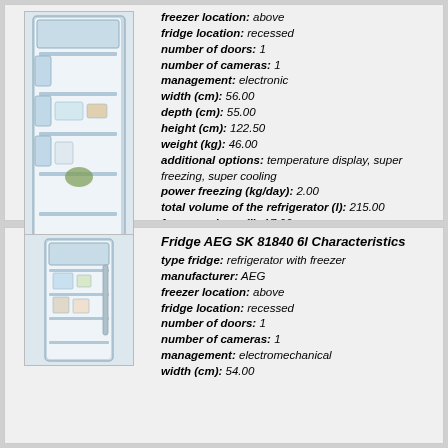[Figure (photo): AEG SK 91240 5l refrigerator with freezer, open door showing shelves and contents]
AEG SK 91240 5l
refrigerator with freezer; 55.00x56.00x122.50 cm
freezer location: above
fridge location: recessed
number of doors: 1
number of cameras: 1
management: electronic
width (cm): 56.00
depth (cm): 55.00
height (cm): 122.50
weight (kg): 46.00
additional options: temperature display, super freezing, super cooling
power freezing (kg/day): 2.00
total volume of the refrigerator (l): 215.00
freezer volume (l): 17.00
refrigerator compartment volume (l): 189.00
standalone cold preservation (h): 12
number of compressors: 1
power consumption (kWh/year): 219.00
energy class: class a
ability to change the position of the door
protection of children
more information
[Figure (photo): AEG SK 81840 6l refrigerator with freezer, front view showing closed door]
Fridge AEG SK 81840 6l Characteristics
type fridge: refrigerator with freezer
manufacturer: AEG
freezer location: above
fridge location: recessed
number of doors: 1
number of cameras: 1
management: electromechanical
width (cm): 54.00